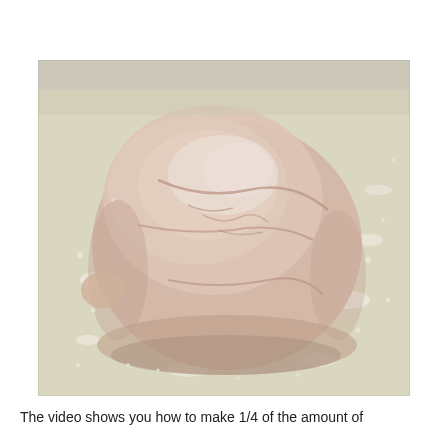[Figure (photo): A ball of bread dough resting on a floured light-colored surface. The dough is pale pinkish-beige with visible fold marks and cracks on top, and flour is scattered around it on the countertop.]
The video shows you how to make 1/4 of the amount of